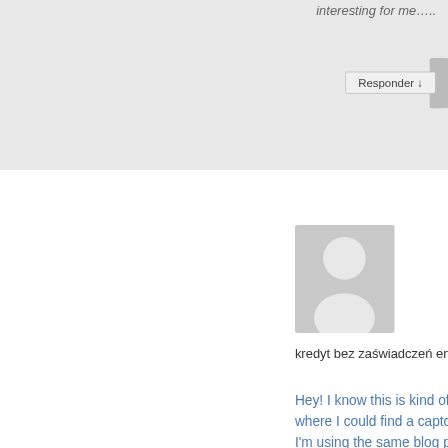interesting for me….
Responder ↓
[Figure (illustration): Default user avatar placeholder - grey silhouette of a person on grey background]
kredyt bez zaświadczeń en 21 marzo, 2017 en 11:02 pm dijo:
Hey! I know this is kind of off topic but I was wondering if you knew where I could find a captcha plugin for my comment form? I'm using the same blog platform as yours and I'm having problems finding one?
Thanks a lot!
Responder ↓